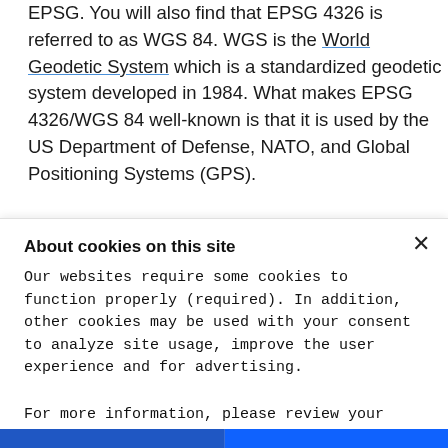EPSG. You will also find that EPSG 4326 is referred to as WGS 84. WGS is the World Geodetic System which is a standardized geodetic system developed in 1984. What makes EPSG 4326/WGS 84 well-known is that it is used by the US Department of Defense, NATO, and Global Positioning Systems (GPS).
Identification numbers like 4326 refer to a standardized collection of SRSs and coordinate transformations. These
About cookies on this site
Our websites require some cookies to function properly (required). In addition, other cookies may be used with your consent to analyze site usage, improve the user experience and for advertising.
For more information, please review your Cookie preferences options and IBM's privacy